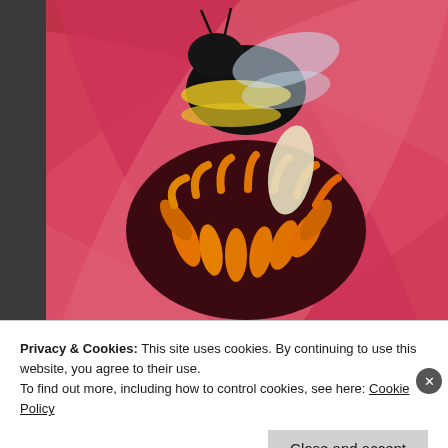[Figure (photo): Close-up macro photo of a bumblebee on a red zinnia flower with orange stamens. Watermark reads '© Cedar Wings?' in bottom-left corner.]
August 4, 2014 | Categories: Photography | Tags: +10, +2, +4, 1, 200mm, 70mm, 77mm, agfa, blossoms, bought on amazon, bumble, bumblebee, burrowing, center, cheap, cheap option, clo... flower, flowering, flowers, fur, furry, fuzzy, garden, gardens, opening, macro, macro-macro, mite... ph... ma...
Privacy & Cookies: This site uses cookies. By continuing to use this website, you agree to their use.
To find out more, including how to control cookies, see here: Cookie Policy
Close and accept